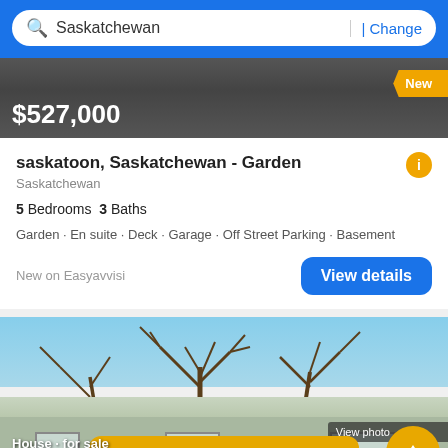Saskatchewan | Change
$527,000 New
saskatoon, Saskatchewan - Garden
Saskatchewan
5 Bedrooms 3 Baths
Garden · En suite · Deck · Garage · Off Street Parking · Basement
New on Easyavvisi
View details
[Figure (photo): Photo of a house exterior in winter with bare trees and snow on roof, light blue/grey siding]
View photo
Filter
House · for sale
$359,000
New